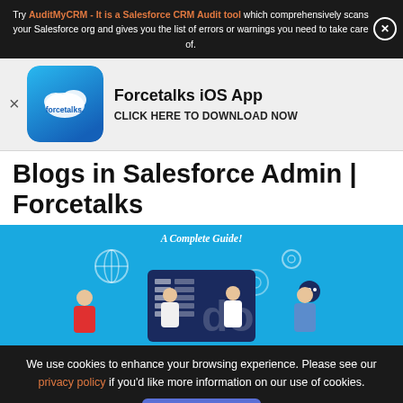Try AuditMyCRM - It is a Salesforce CRM Audit tool which comprehensively scans your Salesforce org and gives you the list of errors or warnings you need to take care of.
[Figure (screenshot): Forcetalks iOS App promotion banner with forcetalks logo icon and text: Forcetalks iOS App - CLICK HERE TO DOWNLOAD NOW]
Blogs in Salesforce Admin | Forcetalks
[Figure (illustration): A Complete Guide! banner image showing people working with Salesforce admin interface, blue background with illustrated figures]
We use cookies to enhance your browsing experience. Please see our privacy policy if you'd like more information on our use of cookies.